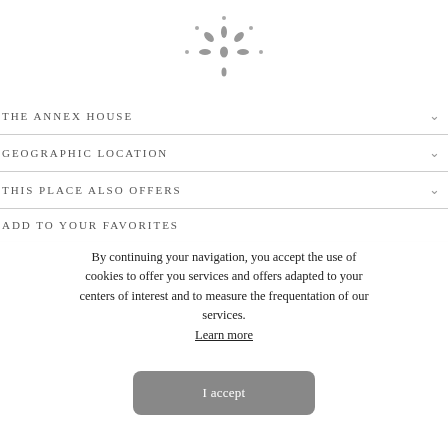[Figure (logo): Decorative flower/asterisk logo mark in gray]
THE ANNEX HOUSE
GEOGRAPHIC LOCATION
THIS PLACE ALSO OFFERS
ADD TO YOUR FAVORITES
By continuing your navigation, you accept the use of cookies to offer you services and offers adapted to your centers of interest and to measure the frequentation of our services.
Learn more
I accept